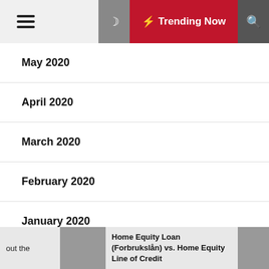Trending Now
May 2020
April 2020
March 2020
February 2020
January 2020
December 2019
November 2019
out the | Home Equity Loan (Forbrukslån) vs. Home Equity Line of Credit